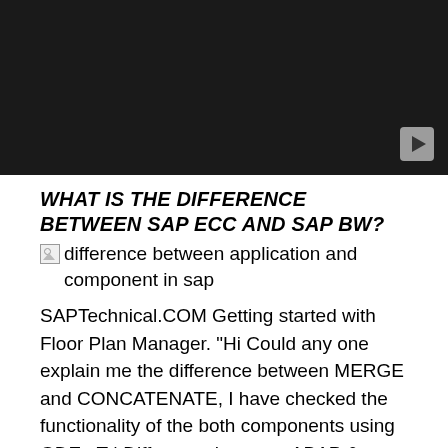[Figure (screenshot): Black video thumbnail with a play button in the bottom-right corner]
WHAT IS THE DIFFERENCE BETWEEN SAP ECC AND SAP BW?
[Figure (photo): Broken image icon with alt text: difference between application and component in sap]
SAPTechnical.COM Getting started with Floor Plan Manager. "Hi Could any one explain me the difference between MERGE and CONCATENATE, I have checked the functionality of the both components using GDE вЂ¦ Difference between ABAP & Webdynpro ABAP applications? Difference between ABAP & Webdynpro ABAP